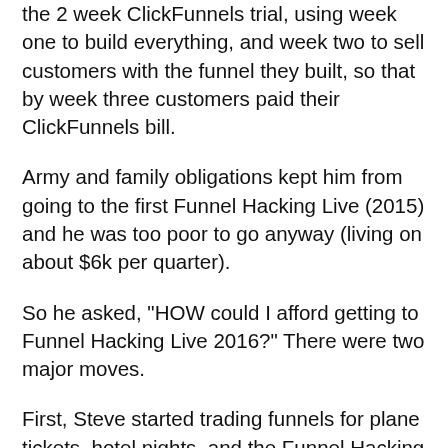the 2 week ClickFunnels trial, using week one to build everything, and week two to sell customers with the funnel they built, so that by week three customers paid their ClickFunnels bill.
Army and family obligations kept him from going to the first Funnel Hacking Live (2015) and he was too poor to go anyway (living on about $6k per quarter).
So he asked, "HOW could I afford getting to Funnel Hacking Live 2016?" There were two major moves.
First, Steve started trading funnels for plane tickets, hotel nights, and the Funnel Hacking Live ticket. Actually telling CEOs to pay him with tickets instead of money taught him about bartering to get what you want.